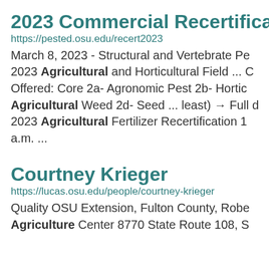2023 Commercial Recertification
https://pested.osu.edu/recert2023
March 8, 2023 - Structural and Vertebrate Pe...
2023 Agricultural and Horticultural Field ... O
Offered: Core 2a- Agronomic Pest 2b- Hortic...
Agricultural Weed 2d- Seed ... least) → Full d...
2023 Agricultural Fertilizer Recertification 1...
a.m. ...
Courtney Krieger
https://lucas.osu.edu/people/courtney-krieger
Quality OSU Extension, Fulton County, Rober...
Agriculture Center 8770 State Route 108, S...